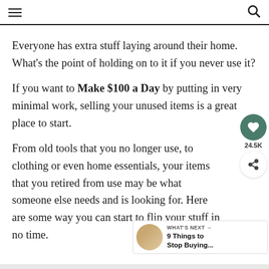[hamburger menu] [search icon]
Everyone has extra stuff laying around their home. What’s the point of holding on to it if you never use it?
If you want to Make $100 a Day by putting in very minimal work, selling your unused items is a great place to start.
From old tools that you no longer use, to clothing or even home essentials, your items that you retired from use may be what someone else needs and is looking for. Here are some way you can start to flip your stuff in no time.